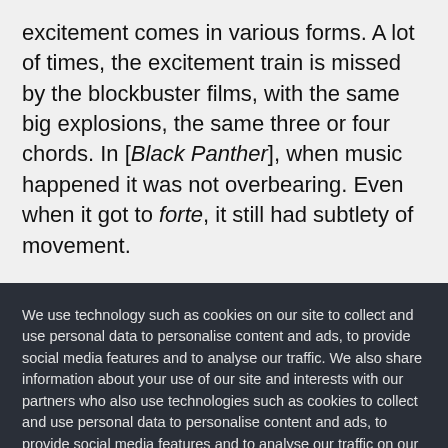excitement comes in various forms. A lot of times, the excitement train is missed by the blockbuster films, with the same big explosions, the same three or four chords. In [Black Panther], when music happened it was not overbearing. Even when it got to forte, it still had subtlety of movement.
We use technology such as cookies on our site to collect and use personal data to personalise content and ads, to provide social media features and to analyse our traffic. We also share information about your use of our site and interests with our partners who also use technologies such as cookies to collect and use personal data to personalise content and ads, to provide social media features and to analyse our traffic on our site and across the internet. You can always change your mind and revisit your choices.